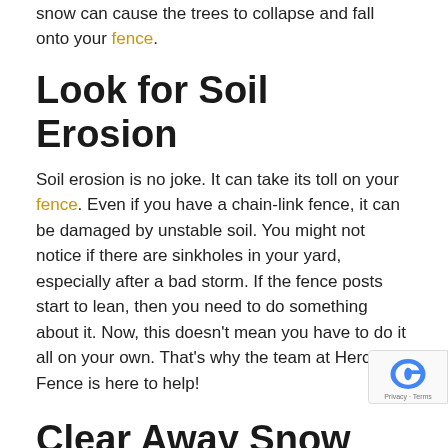snow can cause the trees to collapse and fall onto your fence.
Look for Soil Erosion
Soil erosion is no joke. It can take its toll on your fence. Even if you have a chain-link fence, it can be damaged by unstable soil. You might not notice if there are sinkholes in your yard, especially after a bad storm. If the fence posts start to lean, then you need to do something about it. Now, this doesn't mean you have to do it all on your own. That's why the team at Hercules Fence is here to help!
Clear Away Snow
Many homeowners shovel the driveway when the snow starts falling. Why wouldn't you do the same for the area around your fence? Too much snow can also